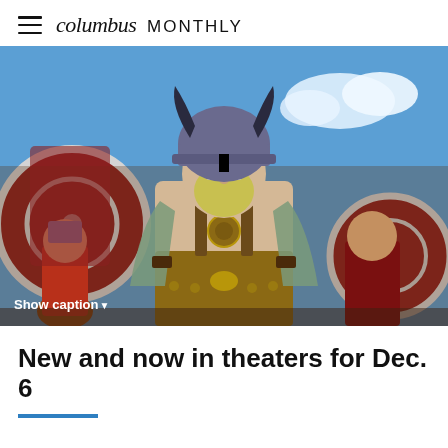columbus MONTHLY
[Figure (photo): Animated 3D CGI Viking character (Playmobil-style) wearing a horned helmet, blonde beard, chain necklace, and armored belt, surrounded by other Viking warriors holding red and white round shields, with a blue sky background. A 'Show caption▼' label appears at the bottom left of the image.]
New and now in theaters for Dec. 6